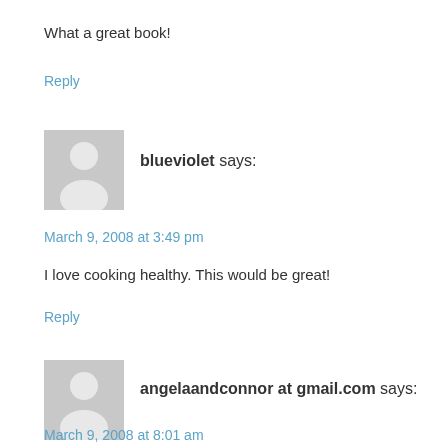What a great book!
Reply
blueviolet says:
March 9, 2008 at 3:49 pm
I love cooking healthy. This would be great!
Reply
angelaandconnor at gmail.com says:
March 9, 2008 at 8:01 am